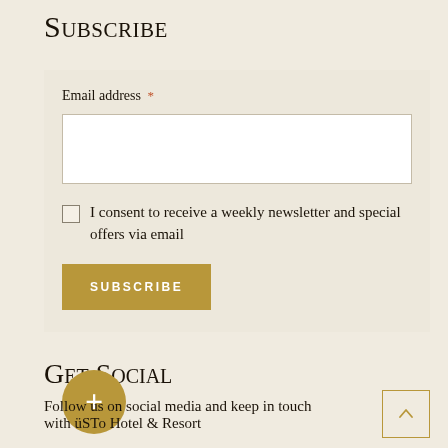Subscribe
Email address *
I consent to receive a weekly newsletter and special offers via email
SUBSCRIBE
Get Social
Follow us on social media and keep in touch with üSTo Hotel & Resort